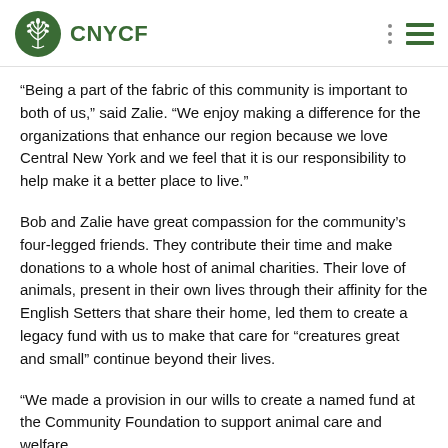CNYCF
“Being a part of the fabric of this community is important to both of us,” said Zalie. “We enjoy making a difference for the organizations that enhance our region because we love Central New York and we feel that it is our responsibility to help make it a better place to live.”
Bob and Zalie have great compassion for the community’s four-legged friends. They contribute their time and make donations to a whole host of animal charities. Their love of animals, present in their own lives through their affinity for the English Setters that share their home, led them to create a legacy fund with us to make that care for “creatures great and small” continue beyond their lives.
“We made a provision in our wills to create a named fund at the Community Foundation to support animal care and welfare